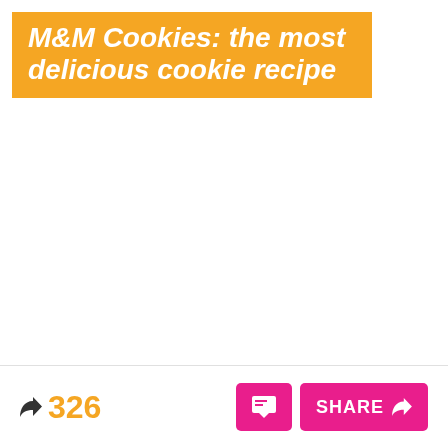M&M Cookies: the most delicious cookie recipe
326
SHARE